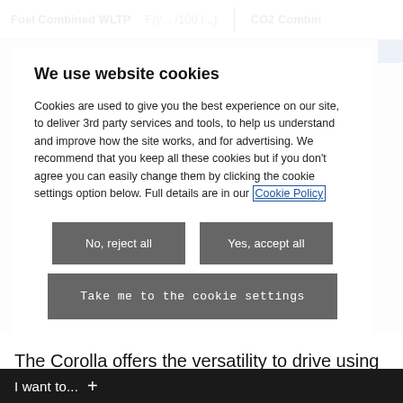Fuel Combined WLTP   F(l/... /100 l...)   CO2 Combin
We use website cookies
Cookies are used to give you the best experience on our site, to deliver 3rd party services and tools, to help us understand and improve how the site works, and for advertising. We recommend that you keep all these cookies but if you don't agree you can easily change them by clicking the cookie settings option below. Full details are in our Cookie Policy
No, reject all
Yes, accept all
Take me to the cookie settings
The Corolla offers the versatility to drive using either electric energy or a combination of petrol and electric
I want to... +